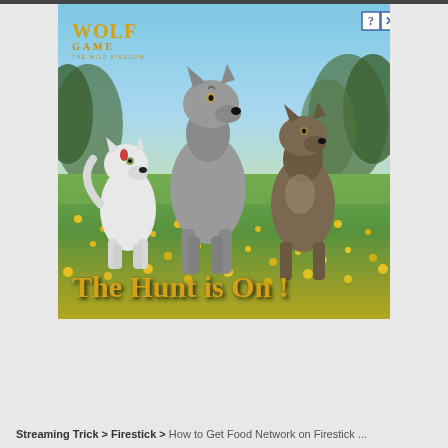[Figure (screenshot): Wolf Game: The Wild Kingdom advertisement banner showing three wolves (white, grey, brown) standing in a meadow with yellow flowers and a blue sky background. Text reads 'THE HUNT IS ON !' in gold letters. The ad has a question mark and X close button in the top right corner.]
Streaming Trick > Firestick > How to Get Food Network on Firestick ...